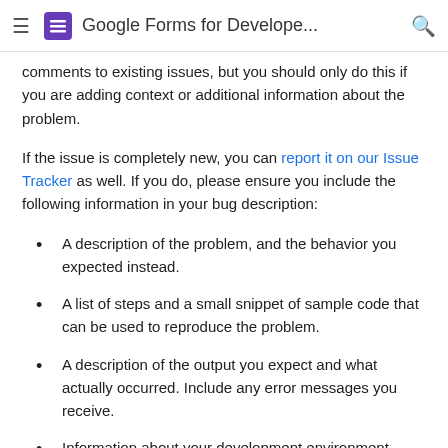Google Forms for Develope...
comments to existing issues, but you should only do this if you are adding context or additional information about the problem.
If the issue is completely new, you can report it on our Issue Tracker as well. If you do, please ensure you include the following information in your bug description:
A description of the problem, and the behavior you expected instead.
A list of steps and a small snippet of sample code that can be used to reproduce the problem.
A description of the output you expect and what actually occurred. Include any error messages you receive.
Information about your development environment,